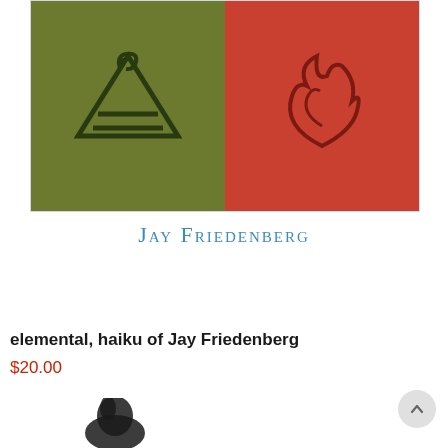[Figure (illustration): Book cover for 'elemental, haiku of Jay Friedenberg'. Left half shows a green/olive background with an abstract earth element symbol (triangle with lines). Right half shows a red/orange background with a flame symbol (curling fire shape). Below is the author name 'Jay Friedenberg' in blue small-caps serif font.]
Jay Friedenberg
elemental, haiku of Jay Friedenberg
$20.00
[Figure (illustration): Partial view of another book/product. Lower left shows a dark sculptural figure. Lower right shows the word 'Elements' in dark red italic serif font.]